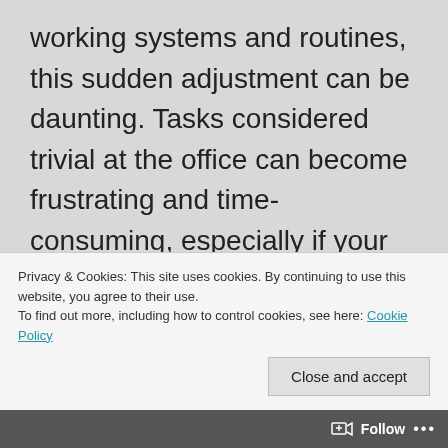working systems and routines, this sudden adjustment can be daunting. Tasks considered trivial at the office can become frustrating and time-consuming, especially if your organisation uses predominantly on-premises infrastructure for file storage. Have you had to search for files on your file server whilst connected via a vpn? Have you needed to open twelve different similarly-named 67 megabyte PowerPoint files to figure out which one you actually need? This
Privacy & Cookies: This site uses cookies. By continuing to use this website, you agree to their use.
To find out more, including how to control cookies, see here: Cookie Policy
Close and accept
Follow ···